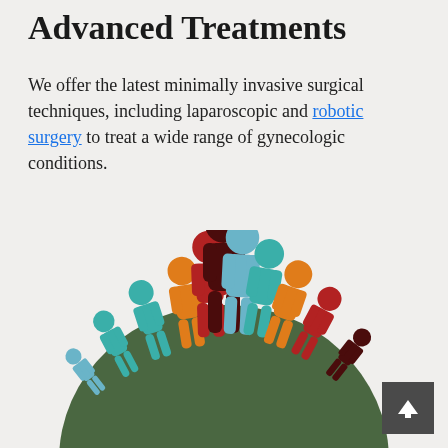Advanced Treatments
We offer the latest minimally invasive surgical techniques, including laparoscopic and robotic surgery to treat a wide range of gynecologic conditions.
[Figure (illustration): Colorful silhouette figures of people standing in a semicircle on top of a dark green hill/globe, representing a diverse community of patients. Figures are in teal, orange, red, dark maroon, and light blue colors.]